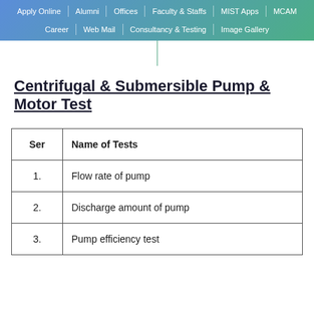Apply Online | Alumni | Offices | Faculty & Staffs | MIST Apps | MCAM | Career | Web Mail | Consultancy & Testing | Image Gallery
Centrifugal & Submersible Pump & Motor Test
| Ser | Name of Tests |
| --- | --- |
| 1. | Flow rate of pump |
| 2. | Discharge amount of pump |
| 3. | Pump efficiency test |